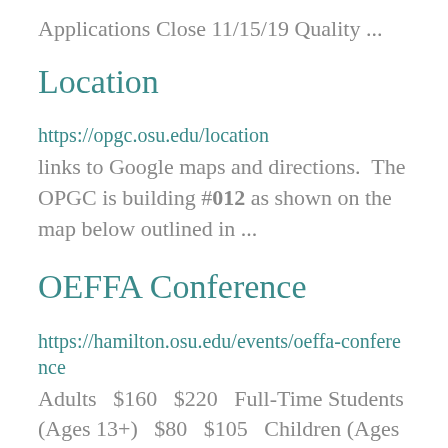Applications Close 11/15/19 Quality ...
Location
https://opgc.osu.edu/location
links to Google maps and directions.  The OPGC is building #012 as shown on the map below outlined in ...
OEFFA Conference
https://hamilton.osu.edu/events/oeffa-conference
Adults  $160  $220  Full-Time Students (Ages 13+)  $80  $105  Children (Ages 0-12)  $20 per day ...